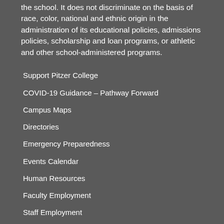the school. It does not discriminate on the basis of race, color, national and ethnic origin in the administration of its educational policies, admissions policies, scholarship and loan programs, or athletic and other school-administered programs.
Support Pitzer College
COVID-19 Guidance – Pathway Forward
Campus Maps
Directories
Emergency Preparedness
Events Calendar
Human Resources
Faculty Employment
Staff Employment
About
Strategic Plan
President's Office
Administration & Leadership
Fast Facts